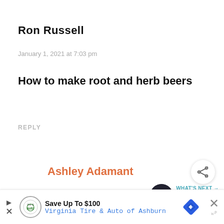Ron Russell
January 1, 2021 at 7:03 pm
How to make root and herb beers
REPLY
Ashley Adamant
January 3, 2021 at 1:22 am
Added to the list!
[Figure (infographic): Share button icon (circular) and What's Next panel showing Blackberry Jam Recipe thumbnail]
[Figure (infographic): Advertisement bar: Save Up To $100, Virginia Tire & Auto of Ashburn, with logo, nav arrow, diamond icon, close button]